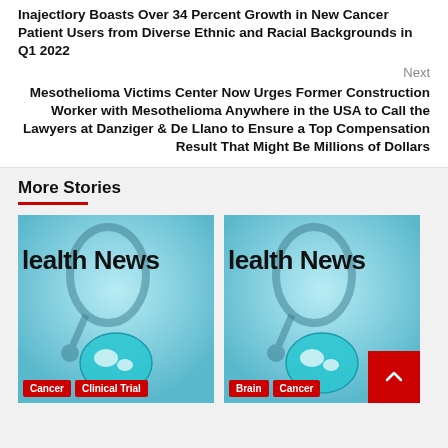Inajectlory Boasts Over 34 Percent Growth in New Cancer Patient Users from Diverse Ethnic and Racial Backgrounds in Q1 2022
Next
Mesothelioma Victims Center Now Urges Former Construction Worker with Mesothelioma Anywhere in the USA to Call the Lawyers at Danziger & De Llano to Ensure a Top Compensation Result That Might Be Millions of Dollars
More Stories
[Figure (photo): Health News banner image with stethoscope and globe, Cancer and Clinical Trial tags]
[Figure (photo): Health News banner image with stethoscope and globe, Brain and Cancer tags]